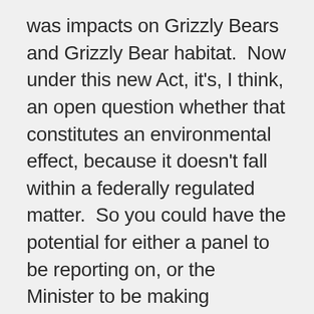was impacts on Grizzly Bears and Grizzly Bear habitat.  Now under this new Act, it's, I think, an open question whether that constitutes an environmental effect, because it doesn't fall within a federally regulated matter.  So you could have the potential for either a panel to be reporting on, or the Minister to be making decisions based on, the environmental effects of a project, but those environmental effects don't [necessarily] extend to things like Grizzly Bears, or Grizzly Bear habitat.